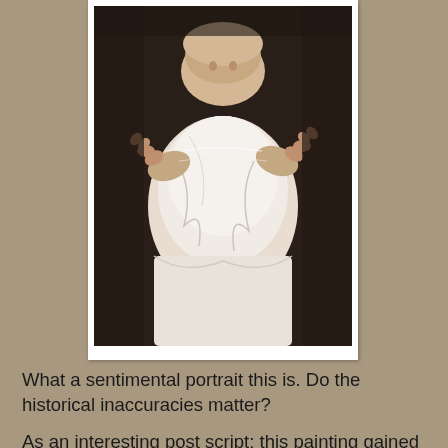[Figure (photo): A classical painting showing hands holding a baby dressed in white cloth, with a dark background. The image is framed with a white border resembling a photograph.]
What a sentimental portrait this is. Do the historical inaccuracies matter?
I would suggest that accuracy has no bearing on the subject.  It was not painted to make a genuine historical comment but to heighten the emotion of the relationship between the young widowed duchess and her little son, to tug at the heart-strings of the onlooker.  It makes her an appealing figure, which is what was intended.  As long as we know the intentions of the artist, then we are able to appreciate the worth of this romantic painting.
As an interesting post script; this painting gained an